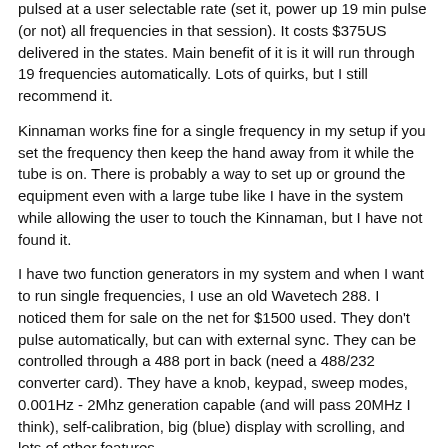pulsed at a user selectable rate (set it, power up 19 min pulse (or not) all frequencies in that session). It costs $375US delivered in the states. Main benefit of it is it will run through 19 frequencies automatically. Lots of quirks, but I still recommend it.
Kinnaman works fine for a single frequency in my setup if you set the frequency then keep the hand away from it while the tube is on. There is probably a way to set up or ground the equipment even with a large tube like I have in the system while allowing the user to touch the Kinnaman, but I have not found it.
I have two function generators in my system and when I want to run single frequencies, I use an old Wavetech 288. I noticed them for sale on the net for $1500 used. They don't pulse automatically, but can with external sync. They can be controlled through a 488 port in back (need a 488/232 converter card). They have a knob, keypad, sweep modes, 0.001Hz - 2Mhz generation capable (and will pass 20MHz I think), self-calibration, big (blue) display with scrolling, and lots of other features.
I have experimented once using the Kinnaman to input freqs to the FM input of the Wavetech. I was considering using a "main" disease frequency on the Wavetech (like 2128) while running the other frequencies on the Kinnaman and see if that was effective. It